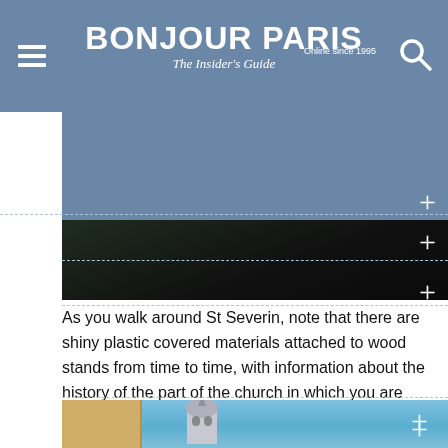BONJOUR PARIS — The Insider's Guide. Online since 1995
[Figure (photo): Dark interior photo of St Severin church with blue overlay and plus icons]
As you walk around St Severin, note that there are shiny plastic covered materials attached to wood stands from time to time, with information about the history of the part of the church in which you are standing.
[Figure (photo): Exterior photo of St Severin church tower against blue sky with adjacent building]